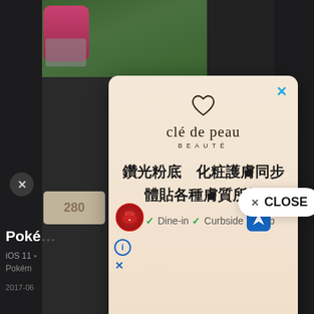[Figure (screenshot): Screenshot of a mobile app with a Clé de Peau Beauté advertisement overlay. The ad shows the brand logo, Chinese text '鑽光粉底 化粧護膚同步 體貼各種膚質所需', and foundation/makeup products. A CLOSE button is visible on the right side. Below the ad is a Google Maps style panel showing Dine-in and Curbside pickup options with a navigation icon.]
× CLOSE
鑽光粉底  化粧護膚同步
體貼各種膚質所需
Poké
iOS 11
Pokém
2017-06
✓  Dine-in  ✓  Curbside pickup